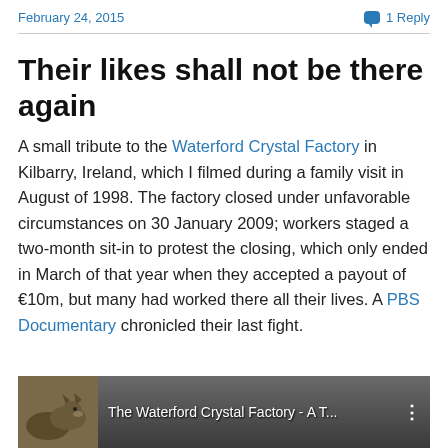February 24, 2015   1 Reply
Their likes shall not be there again
A small tribute to the Waterford Crystal Factory in Kilbarry, Ireland, which I filmed during a family visit in August of 1998. The factory closed under unfavorable circumstances on 30 January 2009; workers staged a two-month sit-in to protest the closing, which only ended in March of that year when they accepted a payout of €10m, but many had worked there all their lives. A PBS Documentary chronicled their last fight.
[Figure (screenshot): Video thumbnail showing 'The Waterford Crystal Factory - A T...' with an animal image on the left and a vertical dots menu on the right]